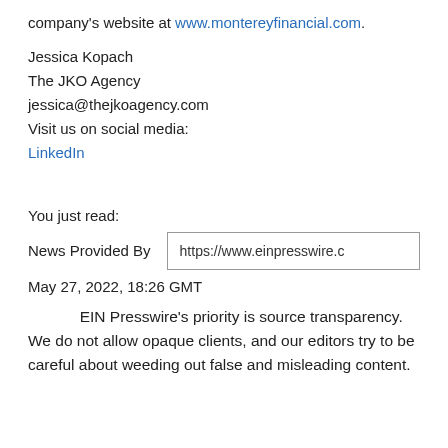company's website at www.montereyfinancial.com.
Jessica Kopach
The JKO Agency
jessica@thejkoagency.com
Visit us on social media:
LinkedIn
You just read:
News Provided By
https://www.einpresswire.c
May 27, 2022, 18:26 GMT
EIN Presswire's priority is source transparency. We do not allow opaque clients, and our editors try to be careful about weeding out false and misleading content.